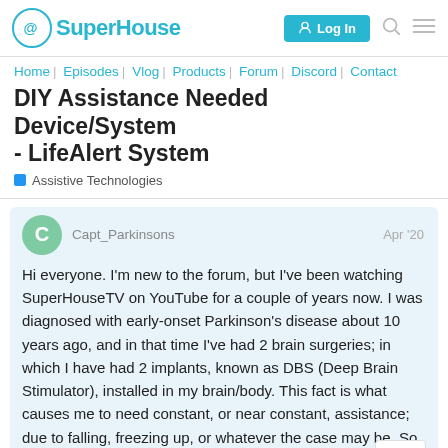SuperHouse — Log In
Home | Episodes | Vlog | Products | Forum | Discord | Contact
DIY Assistance Needed Device/System - LifeAlert System
Assistive Technologies
Capt_Parkinsons Apr '20
Hi everyone. I'm new to the forum, but I've been watching SuperHouseTV on YouTube for a couple of years now. I was diagnosed with early-onset Parkinson's disease about 10 years ago, and in that time I've had 2 brain surgeries; in which I have had 2 implants, known as DBS (Deep Brain Stimulator), installed in my brain/body. This fact is what causes me to need constant, or near constant, assistance; due to falling, freezing up, or whatever the case may be. So what all possible, is coming up with a system th
1 / 4